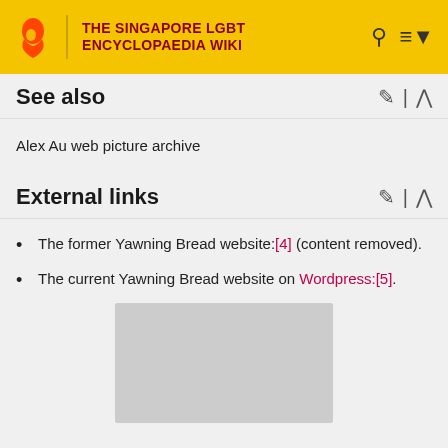THE SINGAPORE LGBT ENCYCLOPAEDIA WIKI
See also
Alex Au web picture archive
External links
The former Yawning Bread website:[4] (content removed).
The current Yawning Bread website on Wordpress:[5].
[Figure (other): Grey placeholder image/advertisement block]